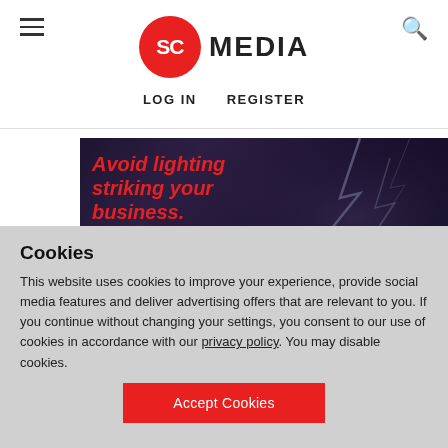SC MEDIA — LOG IN   REGISTER
[Figure (illustration): Advertisement banner with dark stormy sky and lightning background. Red italic text: 'Avoid lighting striking your business.' White text: 'Implement cloud security tools to secure your data.' Red 'LEARN MORE' button. Sponsored by Qualys logo in bottom right.]
Cookies
This website uses cookies to improve your experience, provide social media features and deliver advertising offers that are relevant to you. If you continue without changing your settings, you consent to our use of cookies in accordance with our privacy policy. You may disable cookies.
Accept Cookies